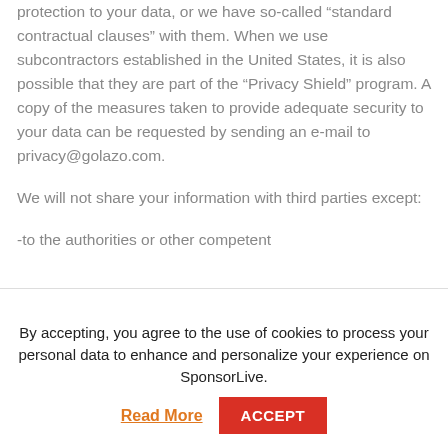protection to your data, or we have so-called “standard contractual clauses” with them. When we use subcontractors established in the United States, it is also possible that they are part of the “Privacy Shield” program. A copy of the measures taken to provide adequate security to your data can be requested by sending an e-mail to privacy@golazo.com.
We will not share your information with third parties except:
-to the authorities or other competent
By accepting, you agree to the use of cookies to process your personal data to enhance and personalize your experience on SponsorLive.